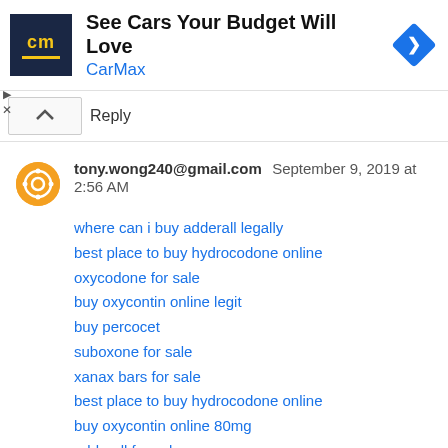[Figure (screenshot): CarMax advertisement banner with logo showing 'cm' in yellow on dark blue background, text 'See Cars Your Budget Will Love' and 'CarMax' in blue, and a blue diamond navigation icon]
Reply
tony.wong240@gmail.com September 9, 2019 at 2:56 AM
where can i buy adderall legally
best place to buy hydrocodone online
oxycodone for sale
buy oxycontin online legit
buy percocet
suboxone for sale
xanax bars for sale
best place to buy hydrocodone online
buy oxycontin online 80mg
adderall for sale
how to buy real xanax online